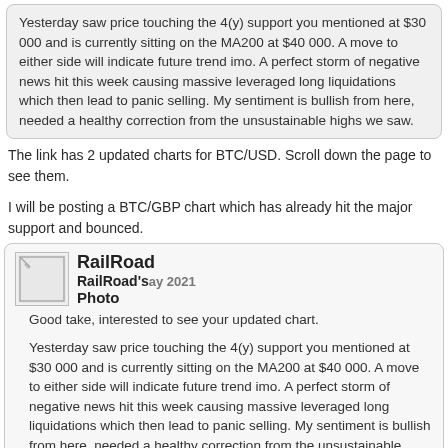Yesterday saw price touching the 4(y) support you mentioned at $30 000 and is currently sitting on the MA200 at $40 000. A move to either side will indicate future trend imo. A perfect storm of negative news hit this week causing massive leveraged long liquidations which then lead to panic selling. My sentiment is bullish from here, needed a healthy correction from the unsustainable highs we saw.
The link has 2 updated charts for BTC/USD. Scroll down the page to see them.
I will be posting a BTC/GBP chart which has already hit the major support and bounced.
RailRoad
RailRoad's Photo
May 2021
Good take, interested to see your updated chart.
Yesterday saw price touching the 4(y) support you mentioned at $30 000 and is currently sitting on the MA200 at $40 000. A move to either side will indicate future trend imo. A perfect storm of negative news hit this week causing massive leveraged long liquidations which then lead to panic selling. My sentiment is bullish from here, needed a healthy correction from the unsustainable highs we saw.